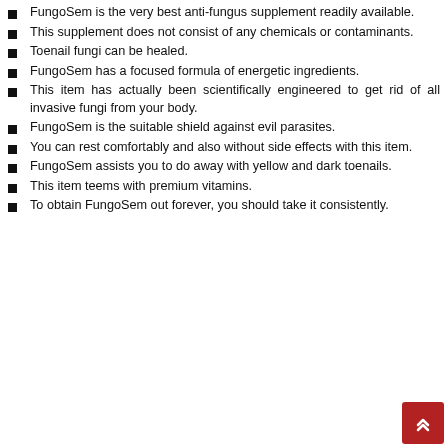FungoSem is the very best anti-fungus supplement readily available.
This supplement does not consist of any chemicals or contaminants.
Toenail fungi can be healed.
FungoSem has a focused formula of energetic ingredients.
This item has actually been scientifically engineered to get rid of all invasive fungi from your body.
FungoSem is the suitable shield against evil parasites.
You can rest comfortably and also without side effects with this item.
FungoSem assists you to do away with yellow and dark toenails.
This item teems with premium vitamins.
To obtain FungoSem out forever, you should take it consistently.